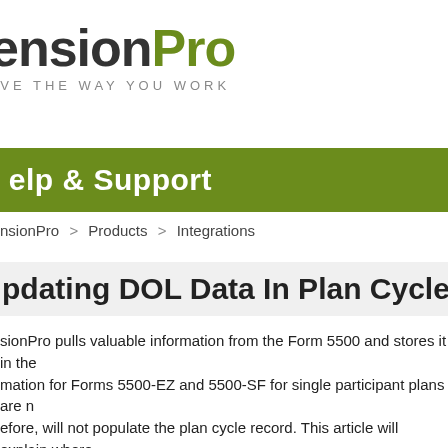ensionPro — EVOLVE THE WAY YOU WORK
Help & Support
ensionPro > Products > Integrations
Updating DOL Data In Plan Cycles
ensionPro pulls valuable information from the Form 5500 and stores it in the information for Forms 5500-EZ and 5500-SF for single participant plans are n efore, will not populate the plan cycle record. This article will explain where information will populate.
Availability: Core, Essential, Premium, Track, Team, Business
Security Rights Required: None
u: